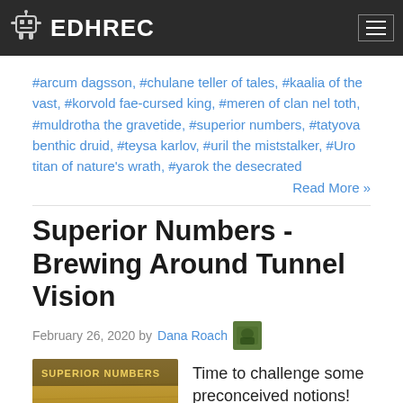EDHREC
#arcum dagsson, #chulane teller of tales, #kaalia of the vast, #korvold fae-cursed king, #meren of clan nel toth, #muldrotha the gravetide, #superior numbers, #tatyova benthic druid, #teysa karlov, #uril the miststalker, #Uro titan of nature's wrath, #yarok the desecrated
Read More »
Superior Numbers - Brewing Around Tunnel Vision
February 26, 2020 by Dana Roach
Time to challenge some preconceived notions!